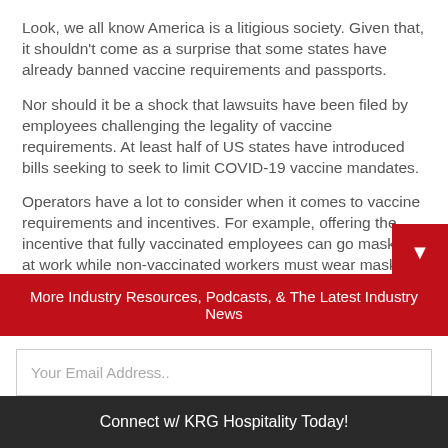Look, we all know America is a litigious society. Given that, it shouldn't come as a surprise that some states have already banned vaccine requirements and passports.
Nor should it be a shock that lawsuits have been filed by employees challenging the legality of vaccine requirements. At least half of US states have introduced bills seeking to seek to limit COVID-19 vaccine mandates.
Operators have a lot to consider when it comes to vaccine requirements and incentives. For example, offering the incentive that fully vaccinated employees can go maskless at work while non-vaccinated workers must wear masks c…
More Industry Resources, Podcasts, & The Latest Industry News
Your Email Address..
Connect w/ KRG Hospitality Today!